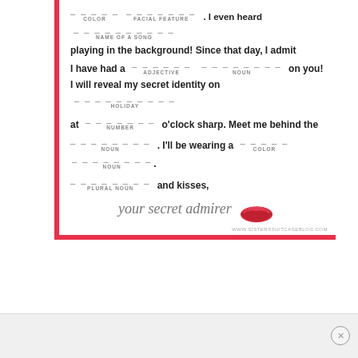_____ _____. I even heard ___________
COLOR   FACIAL FEATURE   NAME OF A SONG
playing in the background! Since that day, I admit I have had a ______ ________ on you!
ADJECTIVE   NOUN
I will reveal my secret identity on __________
HOLIDAY
at _______ o'clock sharp. Meet me behind the
NUMBER
_______. I'll be wearing a _____ ________.
NOUN   COLOR   NOUN
_______ and kisses, your secret admirer
PLURAL NOUN
WWW.SISTERSSUITCASEBLOG.COM